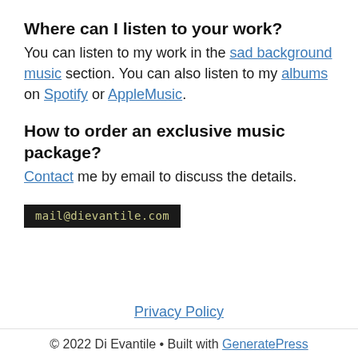Where can I listen to your work?
You can listen to my work in the sad background music section. You can also listen to my albums on Spotify or AppleMusic.
How to order an exclusive music package?
Contact me by email to discuss the details.
mail@dievantile.com
Privacy Policy
© 2022 Di Evantile • Built with GeneratePress